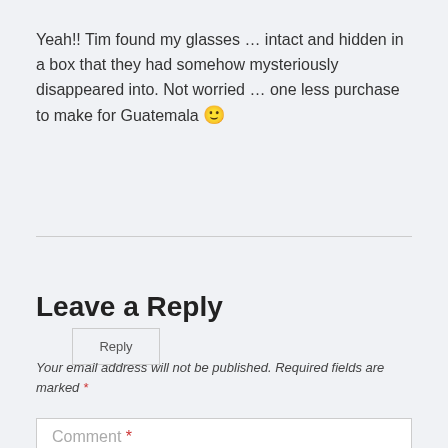Yeah!! Tim found my glasses … intact and hidden in a box that they had somehow mysteriously disappeared into. Not worried … one less purchase to make for Guatemala 🙂
Reply
Leave a Reply
Your email address will not be published. Required fields are marked *
Comment *